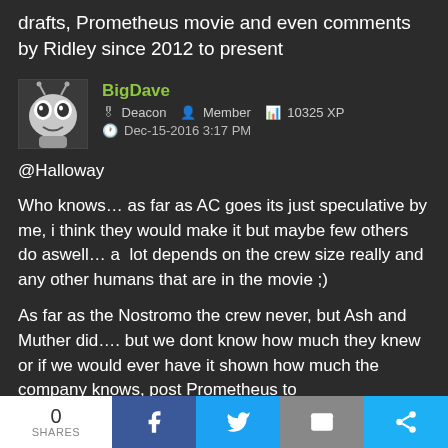drafts, Prometheus movie and even comments by Ridley since 2012 to present
BigDave | Deacon | Member | 10325 XP | Dec-15-2016 3:17 PM
@Halloway

Who knows… as far as AC goes its just speculative by me, i think they would make it but maybe few others do aswell… a  lot depends on the crew size really and any other humans that are in the movie ;)

As far as the Nostromo the crew never, but Ash and Muther did…. but we dont know how much they knew or if we would ever have it shown how much the company knows, post Prometheus to
0 SHARES | f | twitter | email | share